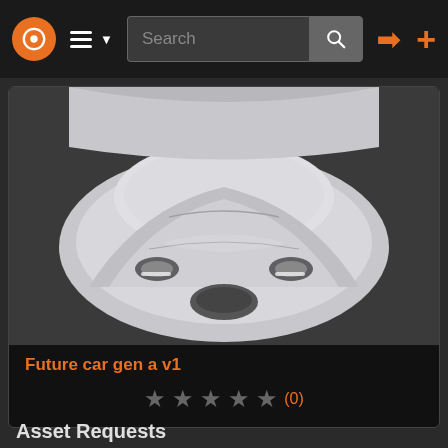Navigation bar with logo, menu, search, login and add icons
[Figure (screenshot): 3D rendered image of a futuristic white car front section on dark background]
Future car gen a v1
★★★★★ (0)
In addition, we also keep track of requests for assets and make them available to our community of authors. Here are some matching requests that you can vote for or comment on.
Asset Requests